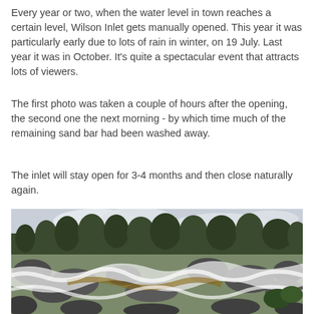Every year or two, when the water level in town reaches a certain level, Wilson Inlet gets manually opened. This year it was particularly early due to lots of rain in winter, on 19 July. Last year it was in October. It's quite a spectacular event that attracts lots of viewers.
The first photo was taken a couple of hours after the opening, the second one the next morning - by which time much of the remaining sand bar had been washed away.
The inlet will stay open for 3-4 months and then close naturally again.
[Figure (photo): Photograph of Wilson Inlet opening - a rushing water scene with white foam and brown water flowing over and around dark rocks, with dense Australian bushland and a cloudy sky in the background.]